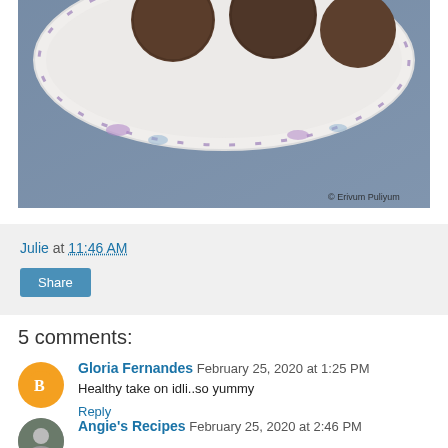[Figure (photo): Partial view of a plate with dark-colored round food items (idli) on a white floral plate, placed on a blue/grey fabric surface. Watermark reads '© Erivum Puliyum' in bottom right.]
Julie at 11:46 AM
Share
5 comments:
Gloria Fernandes February 25, 2020 at 1:25 PM
Healthy take on idli..so yummy
Reply
Angie's Recipes February 25, 2020 at 2:46 PM